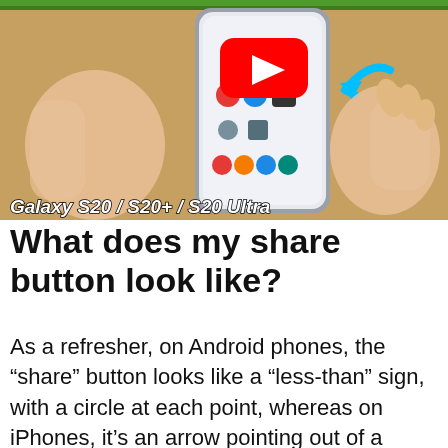[Figure (screenshot): YouTube video thumbnail showing a Samsung Galaxy S20 phone being held, with app icons on the screen, a blue arrow pointing to an icon, a YouTube play button overlay, and text 'Galaxy S20 / S20+ / S20 Ultra' at the bottom left. Green banner at top.]
What does my share button look like?
As a refresher, on Android phones, the “share” button looks like a “less-than” sign, with a circle at each point, whereas on iPhones, it’s an arrow pointing out of a rectangle. But no matter which platform you’re using, the purpose of the button is the same—to share whatever you’re looking at